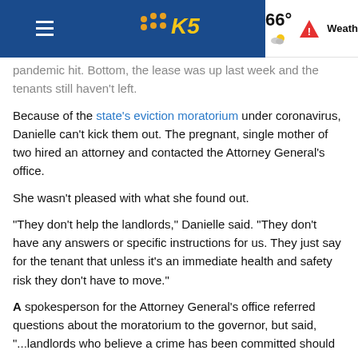KING5 News — 66° Weather
pandemic hit. Bottom, the lease was up last week and the tenants still haven't left.
Because of the state's eviction moratorium under coronavirus, Danielle can't kick them out. The pregnant, single mother of two hired an attorney and contacted the Attorney General's office.
She wasn't pleased with what she found out.
"They don't help the landlords," Danielle said. "They don't have any answers or specific instructions for us. They just say for the tenant that unless it's an immediate health and safety risk they don't have to move."
A spokesperson for the Attorney General's office referred questions about the moratorium to the governor, but said, "...landlords who believe a crime has been committed should contact the police."
A also for some context, her she she some some some...